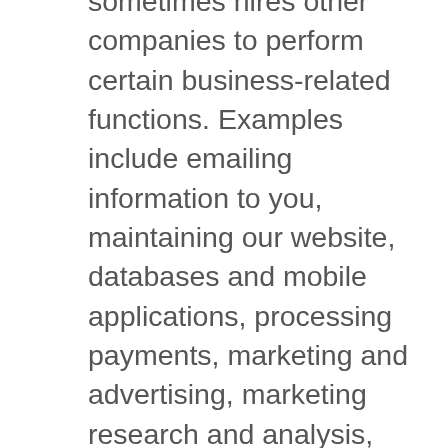sometimes hires other companies to perform certain business-related functions. Examples include emailing information to you, maintaining our website, databases and mobile applications, processing payments, marketing and advertising, marketing research and analysis, and customer service. When we employ another company to perform a function of this type, we only provide them with the Personal Data and Information they need to perform their specific function and we do not authorize these service providers to use or disclose your personal information except as necessary to perform the tasks we have asked them to do for us or to comply with legal requirements.